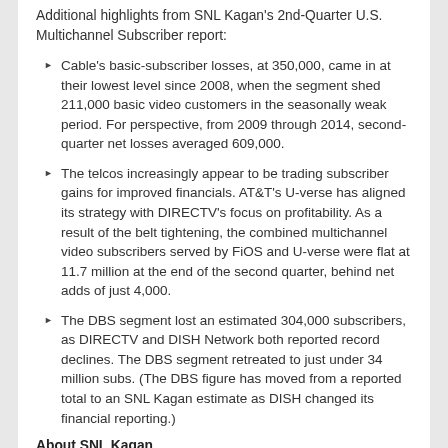Additional highlights from SNL Kagan's 2nd-Quarter U.S. Multichannel Subscriber report:
Cable's basic-subscriber losses, at 350,000, came in at their lowest level since 2008, when the segment shed 211,000 basic video customers in the seasonally weak period. For perspective, from 2009 through 2014, second-quarter net losses averaged 609,000.
The telcos increasingly appear to be trading subscriber gains for improved financials. AT&T's U-verse has aligned its strategy with DIRECTV's focus on profitability. As a result of the belt tightening, the combined multichannel video subscribers served by FiOS and U-verse were flat at 11.7 million at the end of the second quarter, behind net adds of just 4,000.
The DBS segment lost an estimated 304,000 subscribers, as DIRECTV and DISH Network both reported record declines. The DBS segment retreated to just under 34 million subs. (The DBS figure has moved from a reported total to an SNL Kagan estimate as DISH changed its financial reporting.)
About SNL Kagan
SNL Kagan, a division of SNL Financial LC, is a comprehensive